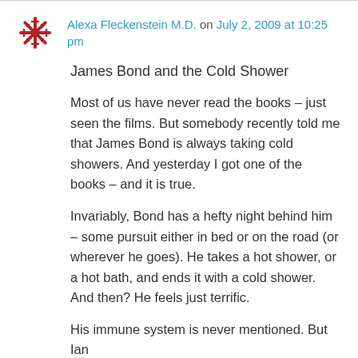Alexa Fleckenstein M.D. on July 2, 2009 at 10:25 pm
James Bond and the Cold Shower
Most of us have never read the books – just seen the films. But somebody recently told me that James Bond is always taking cold showers. And yesterday I got one of the books – and it is true.
Invariably, Bond has a hefty night behind him – some pursuit either in bed or on the road (or wherever he goes). He takes a hot shower, or a hot bath, and ends it with a cold shower. And then? He feels just terrific.
His immune system is never mentioned. But Ian